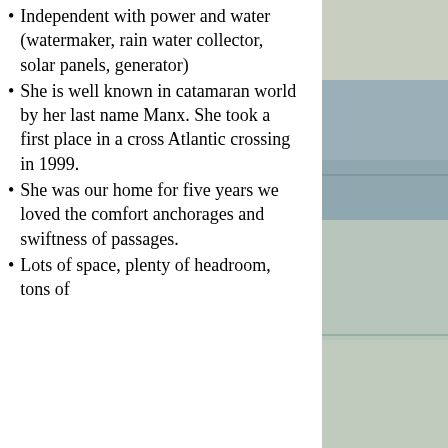Independent with power and water (watermaker, rain water collector, solar panels, generator)
She is well known in catamaran world by her last name Manx. She took a first place in a cross Atlantic crossing in 1999.
She was our home for five years we loved the comfort anchorages and swiftness of passages.
Lots of space, plenty of headroom, tons of
[Figure (photo): Photograph of a boat/catamaran scene, partially visible on the right side of the page]